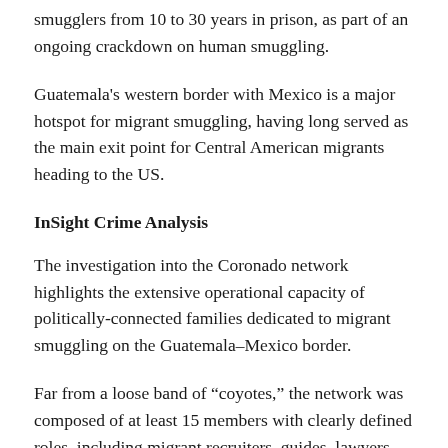smugglers from 10 to 30 years in prison, as part of an ongoing crackdown on human smuggling.
Guatemala's western border with Mexico is a major hotspot for migrant smuggling, having long served as the main exit point for Central American migrants heading to the US.
InSight Crime Analysis
The investigation into the Coronado network highlights the extensive operational capacity of politically-connected families dedicated to migrant smuggling on the Guatemala–Mexico border.
Far from a loose band of “coyotes,” the network was composed of at least 15 members with clearly defined roles, including migrant recruiters, guides, lawyers, and money launderers, according to Attorney General’s Office.